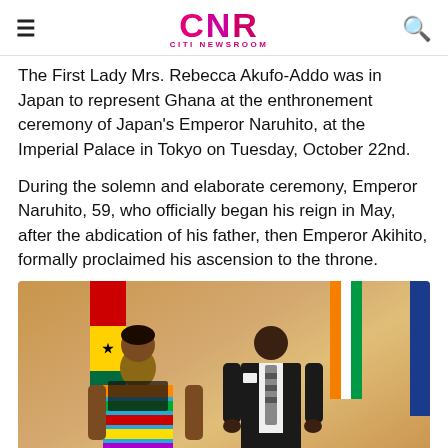CNR CITI NEWSROOM
The First Lady Mrs. Rebecca Akufo-Addo was in Japan to represent Ghana at the enthronement ceremony of Japan's Emperor Naruhito, at the Imperial Palace in Tokyo on Tuesday, October 22nd.
During the solemn and elaborate ceremony, Emperor Naruhito, 59, who officially began his reign in May, after the abdication of his father, then Emperor Akihito, formally proclaimed his ascension to the throne.
[Figure (photo): Two people, a woman in colorful kente dress and a man in a dark suit, standing in front of Ghana flag and Ivory Coast flag at the Imperial Palace in Tokyo.]